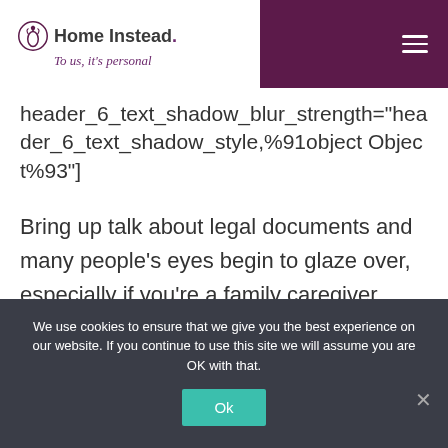[Figure (logo): Home Instead logo with tulip icon and tagline 'To us, it's personal' on white background, next to purple navigation bar with hamburger menu icon]
header_6_text_shadow_blur_strength="header_6_text_shadow_style,%91object Object%93"]
Bring up talk about legal documents and many people's eyes begin to glaze over, especially if you're a family caregiver. After all, you have enough to do caring for your senior loved one without worrying about complicated legal issues and paperwork.
We use cookies to ensure that we give you the best experience on our website. If you continue to use this site we will assume you are OK with that.